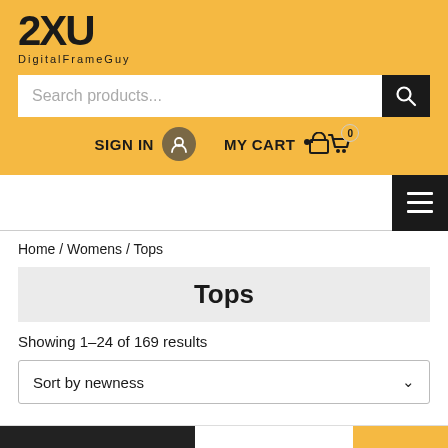[Figure (logo): 2XU logo with 'DigitalFrameGuy' subtitle on golden yellow background]
[Figure (screenshot): Search bar with placeholder 'Search products...' and black search button]
SIGN IN
MY CART 0
[Figure (screenshot): Hamburger menu icon (three horizontal lines) on black background]
Home / Womens / Tops
Tops
Showing 1–24 of 169 results
Sort by newness